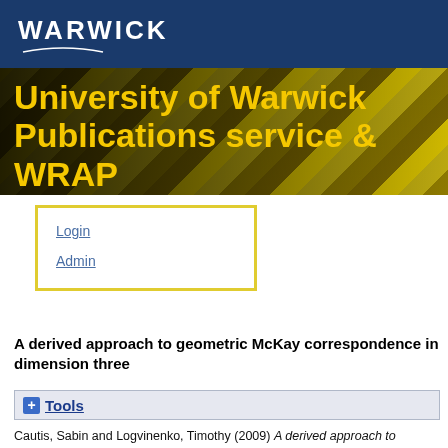[Figure (screenshot): University of Warwick WRAP header banner with dark blue top bar showing WARWICK logo, and large yellow bold text 'University of Warwick Publications service & WRAP' over a dark background with yellow diagonal stripe pattern (highlighter pens photo)]
Login
Admin
A derived approach to geometric McKay correspondence in dimension three
Tools
Cautis, Sabin and Logvinenko, Timothy (2009) A derived approach to geometric McKay correspondence in dimension three. Journal für die reine und angewandte Mathematik (Crelles Journal), Vol.2009 (No.636). pp. 193-226. doi:10.1515/CRELLE.2009.086